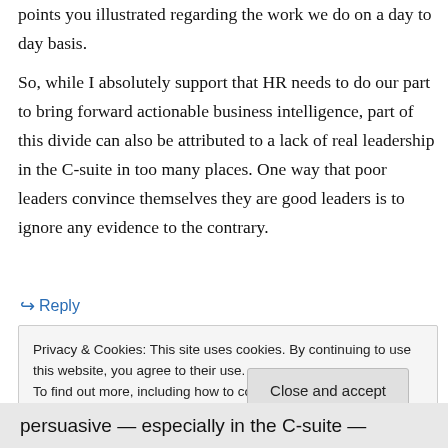points you illustrated regarding the work we do on a day to day basis.
So, while I absolutely support that HR needs to do our part to bring forward actionable business intelligence, part of this divide can also be attributed to a lack of real leadership in the C-suite in too many places. One way that poor leaders convince themselves they are good leaders is to ignore any evidence to the contrary.
↳ Reply
Privacy & Cookies: This site uses cookies. By continuing to use this website, you agree to their use.
To find out more, including how to control cookies, see here: Cookie Policy
Close and accept
persuasive — especially in the C-suite —